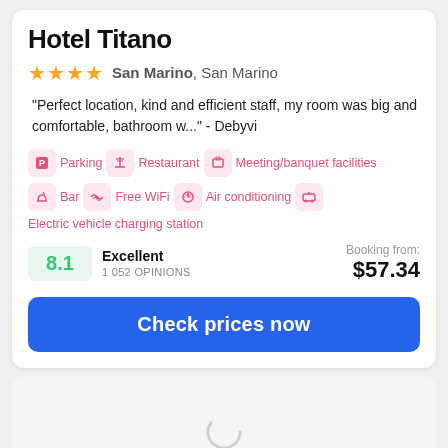Hotel Titano
★★★★ San Marino, San Marino
"Perfect location, kind and efficient staff, my room was big and comfortable, bathroom w..." - Debyvi
Parking
Restaurant
Meeting/banquet facilities
Bar
Free WiFi
Air conditioning
Electric vehicle charging station
8.1 Excellent 1 052 OPINIONS
Booking from: $57.34
Check prices now
[Figure (other): Loading spinner placeholder for second hotel card]